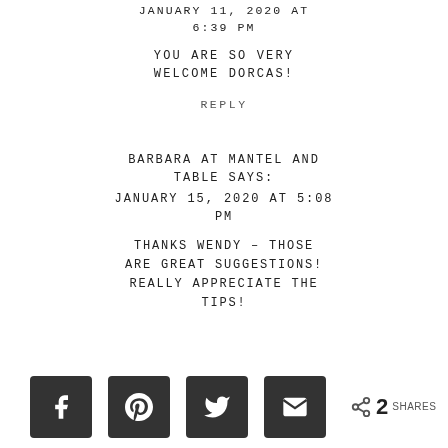JANUARY 11, 2020 AT 6:39 PM
YOU ARE SO VERY WELCOME DORCAS!
REPLY
BARBARA AT MANTEL AND TABLE SAYS: JANUARY 15, 2020 AT 5:08 PM
THANKS WENDY – THOSE ARE GREAT SUGGESTIONS! REALLY APPRECIATE THE TIPS!
[Figure (other): Social share buttons: Facebook, Pinterest, Twitter, Email icons, and share count showing 2 SHARES]